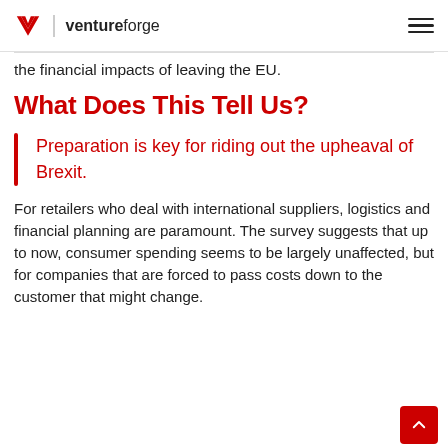ventureforge
the financial impacts of leaving the EU.
What Does This Tell Us?
Preparation is key for riding out the upheaval of Brexit.
For retailers who deal with international suppliers, logistics and financial planning are paramount. The survey suggests that up to now, consumer spending seems to be largely unaffected, but for companies that are forced to pass costs down to the customer that might change.